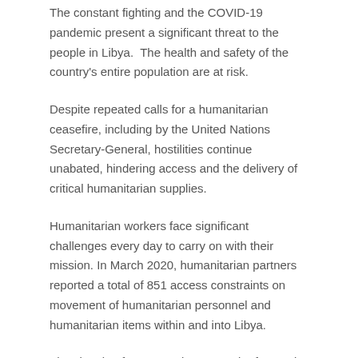The constant fighting and the COVID-19 pandemic present a significant threat to the people in Libya. The health and safety of the country's entire population are at risk.
Despite repeated calls for a humanitarian ceasefire, including by the United Nations Secretary-General, hostilities continue unabated, hindering access and the delivery of critical humanitarian supplies.
Humanitarian workers face significant challenges every day to carry on with their mission. In March 2020, humanitarian partners reported a total of 851 access constraints on movement of humanitarian personnel and humanitarian items within and into Libya.
The situation for many migrants and refugees is especially alarming.
Since the start of this year, more than 3,200 people have been intercepted at sea and returned to Libya. Many end up in one of the eleven official detention centers. Others are taken to facilities or unofficial detention centers to which the humanitarian community